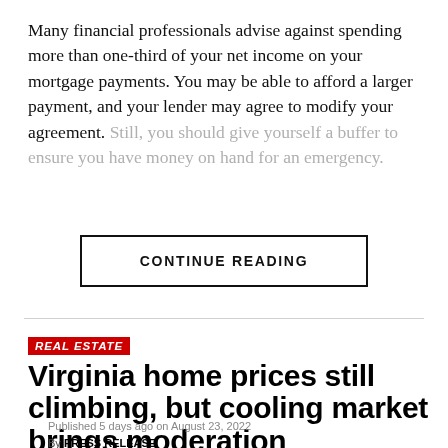Many financial professionals advise against spending more than one-third of your net income on your mortgage payments. You may be able to afford a larger payment, and your lender may agree to modify your agreement. Still, you should give yourself a buffer to ensure you have money on hand for an emergency.
CONTINUE READING
REAL ESTATE
Virginia home prices still climbing, but cooling market brings moderation
Published 5 days ago on August 23, 2022
By PRESS RELEASE